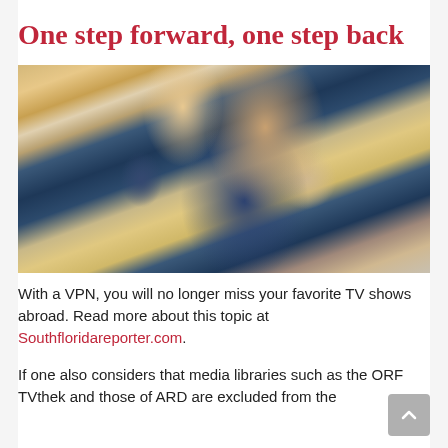One step forward, one step back
[Figure (photo): Person sitting on the ground looking at a smartphone, another person standing nearby wearing yellow shirt and sneakers; overhead/top-down perspective]
With a VPN, you will no longer miss your favorite TV shows abroad. Read more about this topic at Southfloridareporter.com.
If one also considers that media libraries such as the ORF TVthek and those of ARD are excluded from the